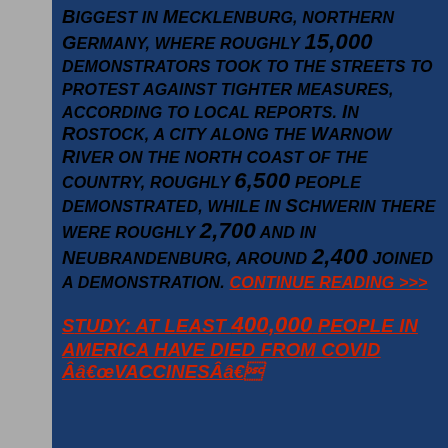BIGGEST IN MECKLENBURG, NORTHERN GERMANY, WHERE ROUGHLY 15,000 DEMONSTRATORS TOOK TO THE STREETS TO PROTEST AGAINST TIGHTER MEASURES, ACCORDING TO LOCAL REPORTS. IN ROSTOCK, A CITY ALONG THE WARNOW RIVER ON THE NORTH COAST OF THE COUNTRY, ROUGHLY 6,500 PEOPLE DEMONSTRATED, WHILE IN SCHWERIN THERE WERE ROUGHLY 2,700 AND IN NEUBRANDENBURG, AROUND 2,400 JOINED A DEMONSTRATION. CONTINUE READING >>>
STUDY: AT LEAST 400,000 PEOPLE IN AMERICA HAVE DIED FROM COVID â€œVACCINESâ€